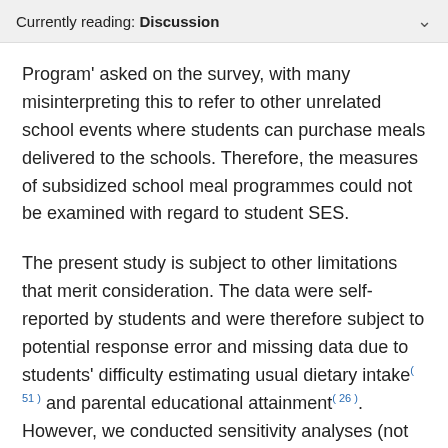Currently reading: Discussion
Program' asked on the survey, with many misinterpreting this to refer to other unrelated school events where students can purchase meals delivered to the schools. Therefore, the measures of subsidized school meal programmes could not be examined with regard to student SES.
The present study is subject to other limitations that merit consideration. The data were self-reported by students and were therefore subject to potential response error and missing data due to students' difficulty estimating usual dietary intake(51) and parental educational attainment(26). However, we conducted sensitivity analyses (not shown) that included a variable for the missing group on the parent education variable (i.e. parent education was coded as